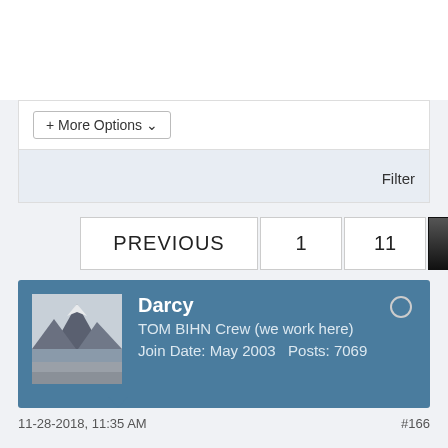+ More Options ▾
Filter
PREVIOUS   1   11   12
[Figure (other): User profile card for Darcy, TOM BIHN Crew (we work here), Join Date: May 2003, Posts: 7069, with mountain landscape avatar]
Darcy
TOM BIHN Crew (we work here)
Join Date: May 2003    Posts: 7069
11-28-2018, 11:35 AM
#166